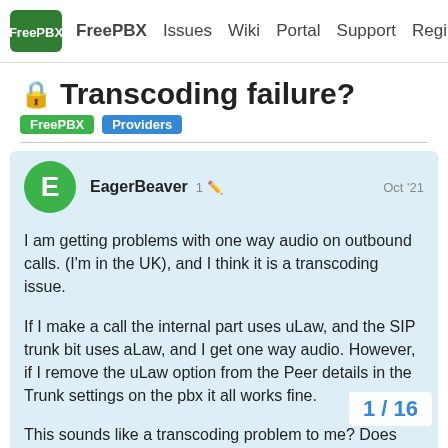FreePBX  Issues  Wiki  Portal  Support  Regi
🔒 Transcoding failure?
FreePBX  Providers
EagerBeaver  1  Oct '21
I am getting problems with one way audio on outbound calls. (I'm in the UK), and I think it is a transcoding issue.

If I make a call the internal part uses uLaw, and the SIP trunk bit uses aLaw, and I get one way audio. However, if I remove the uLaw option from the Peer details in the Trunk settings on the pbx it all works fine.

This sounds like a transcoding problem to me? Does FreePBX do transcoding? Or should I just remove all support for uLaw in the PBX?
1 / 16